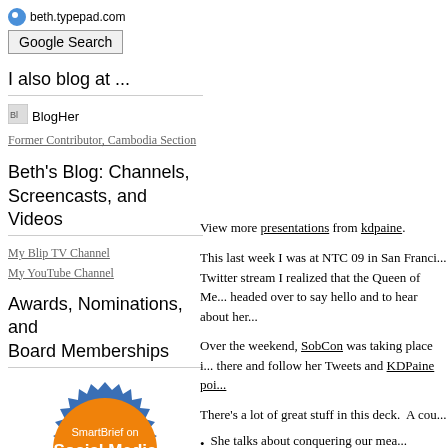beth.typepad.com
Google Search
I also blog at ...
[Figure (logo): BlogHer logo icon]
Former Contributor, Cambodia Section
Beth's Blog: Channels, Screencasts, and Videos
My Blip TV Channel
My YouTube Channel
Awards, Nominations, and Board Memberships
[Figure (logo): SmartBrief on Social Media Advisory Board badge - orange and blue circular badge]
View more presentations from kdpaine.
This last week I was at NTC 09 in San Franci... Twitter stream I realized that the Queen of Me... headed over to say hello and to hear about her...
Over the weekend, SobCon was taking place i... there and follow her Tweets and KDPaine poi...
There's a lot of great stuff in this deck. A cou...
She talks about conquering our mea... improving it. It gets at that failing f...
She puts the what to measure questio... improving relationships.
She offers a frameworks output, out...
She gives a seven step framework fo...
She gives us some suggestions for to...
Most importantly is understanding w...